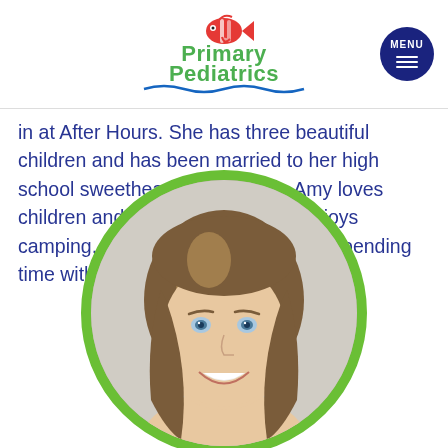Primary Pediatrics
in at After Hours. She has three beautiful children and has been married to her high school sweetheart for 18 years. Amy loves children and in her free time she enjoys camping, serving in her church, and spending time with her family.
[Figure (photo): Circular portrait photo of a young woman with long brown and blonde highlighted hair, blue eyes, and a bright smile, framed in a green circle border. Primary Pediatrics logo at top with clownfish icon.]